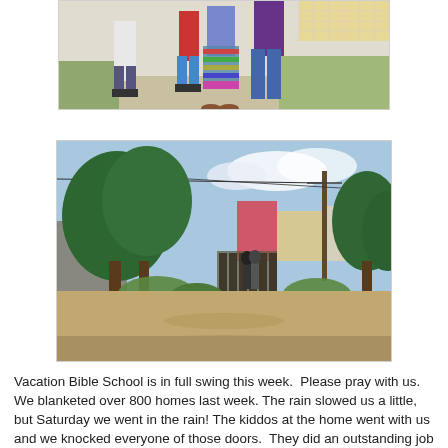[Figure (photo): Partial photo at top of page showing people standing in front of a building outdoors — cropped, showing lower portions of figures in colorful clothing]
[Figure (photo): Outdoor photo of a dirt road flanked by trees, with buildings and utility poles visible in the background under a partly cloudy sky]
Vacation Bible School is in full swing this week.  Please pray with us.  We blanketed over 800 homes last week. The rain slowed us a little, but Saturday we went in the rain! The kiddos at the home went with us and we knocked everyone of those doors.  They did an outstanding job representing